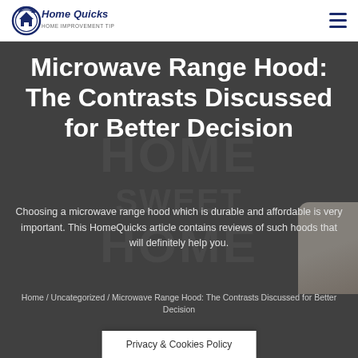HomeQuicks
Microwave Range Hood: The Contrasts Discussed for Better Decision
Choosing a microwave range hood which is durable and affordable is very important. This HomeQuicks article contains reviews of such hoods that will definitely help you.
Home / Uncategorized / Microwave Range Hood: The Contrasts Discussed for Better Decision
Privacy & Cookies Policy